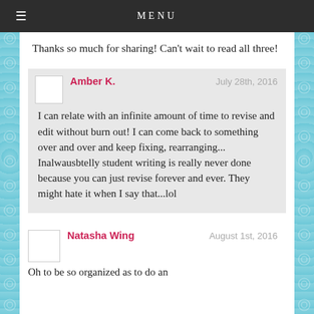MENU
Thanks so much for sharing! Can't wait to read all three!
Amber K.
July 28th, 2016
I can relate with an infinite amount of time to revise and edit without burn out! I can come back to something over and over and keep fixing, rearranging... Inalwausbtelly student writing is really never done because you can just revise forever and ever. They might hate it when I say that...lol
Natasha Wing
August 1st, 2016
Oh to be so organized as to do an